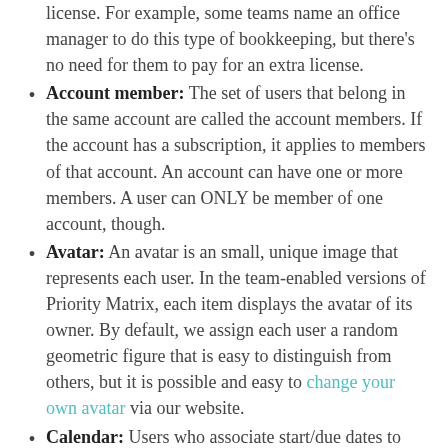license. For example, some teams name an office manager to do this type of bookkeeping, but there's no need for them to pay for an extra license.
Account member: The set of users that belong in the same account are called the account members. If the account has a subscription, it applies to members of that account. An account can have one or more members. A user can ONLY be member of one account, though.
Avatar: An avatar is an small, unique image that represents each user. In the team-enabled versions of Priority Matrix, each item displays the avatar of its owner. By default, we assign each user a random geometric figure that is easy to distinguish from others, but it is possible and easy to change your own avatar via our website.
Calendar: Users who associate start/due dates to their items can also integrate Priority Matrix with their favorite calendar system. Calendars can